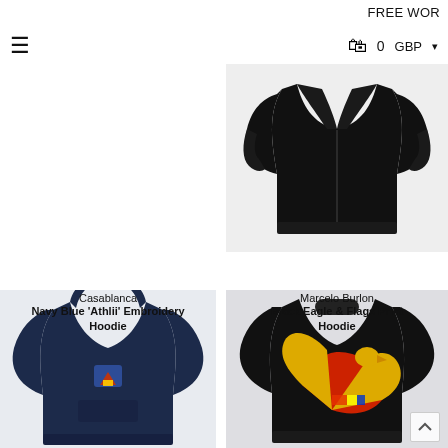FREE WOR
☰  🛍 0  GBP ▾
[Figure (photo): Black velvet zip-up hoodie/jacket on a light grey background, showing front view with zipper detail and ribbed hem]
Casablanca
Navy Blue 'Athlii' Embroidery Hoodie
[Figure (photo): Navy blue oversized hoodie with colorful 'Athlii' embroidery patch on chest, displayed on light grey background]
Marcelo Burlon
Black Eagle & Flags Print Hoodie
[Figure (photo): Black hoodie with large colorful eagle and flags print on back, displayed on dark grey background]